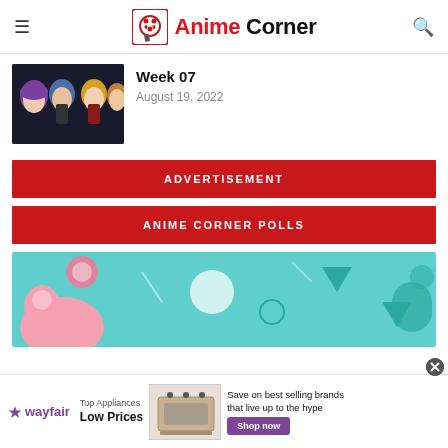Anime Corner
Week 07
August 19, 2022
ADVERTISEMENT
ANIME CORNER POLLS
[Figure (illustration): Colorful anime-style illustration with teal background and geometric shapes, character visible on left side]
wayfair  Top Appliances Low Prices  Save on best selling brands that live up to the hype  Shop now